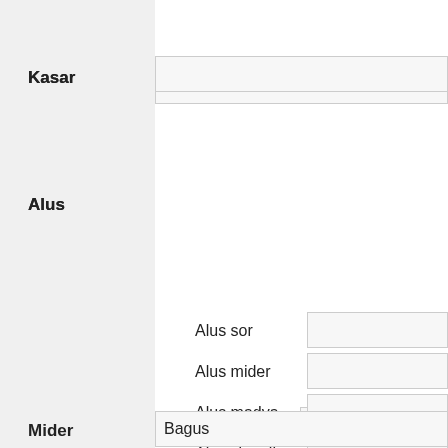Kasar
Alus
Alus sor
Alus mider
Alus madya
Alus singgih
Mider
Bagus